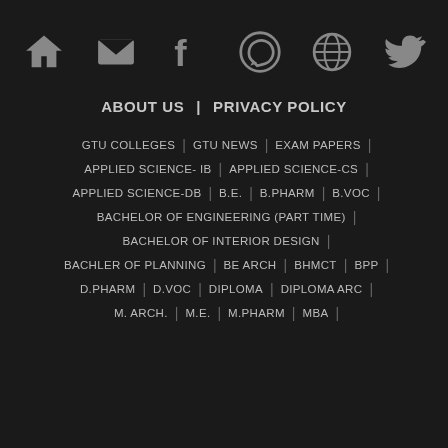[Figure (infographic): Row of 6 social/navigation icons: home, email, facebook, whatsapp, globe, twitter — all in grey on dark background]
ABOUT US  |  PRIVACY POLICY
GTU COLLEGES | GTU NEWS | EXAM PAPERS |
APPLIED SCIENCE- IB | APPLIED SCIENCE-CS |
APPLIED SCIENCE-DB | B.E. | B.PHARM | B.VOC |
BACHELOR OF ENGINEERING (PART TIME) |
BACHELOR OF INTERIOR DESIGN |
BACHLER OF PLANNING | BE ARCH | BHMCT | BPP |
D.PHARM | D.VOC | DIPLOMA | DIPLOMA ARC |
M. ARCH. | M.E. | M.PHARM | MBA |